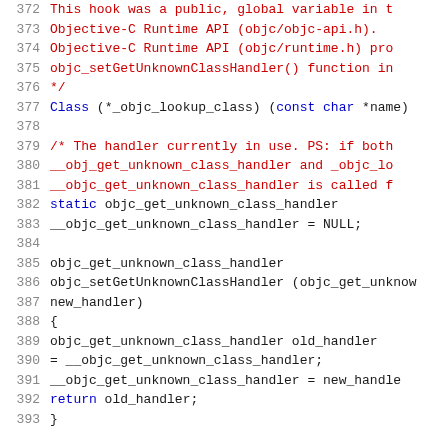[Figure (screenshot): Source code listing showing C/Objective-C code, lines 372-393, with line numbers in gray, comment text in red, and keyword text in blue on white background. The code involves objc_lookup_class and objc_get_unknown_class_handler.]